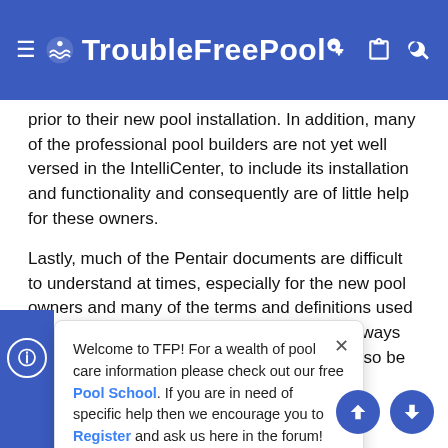TroubleFreePool
prior to their new pool installation. In addition, many of the professional pool builders are not yet well versed in the IntelliCenter, to include its installation and functionality and consequently are of little help for these owners.
Lastly, much of the Pentair documents are difficult to understand at times, especially for the new pool owners and many of the terms and definitions used in the IntelliCenter documentation, are not always easily understood and interpreted and can also be conflicting.
G[...] ilders, I thought it m[...] basic general i[...] information fo[...] ts a[...] al provide links to the applicable documentation and other
Welcome to TFP! For a wealth of pool care information please check out our free Pool School. If you are in need of specific help then we encourage you to Register and ask us here in the forum!